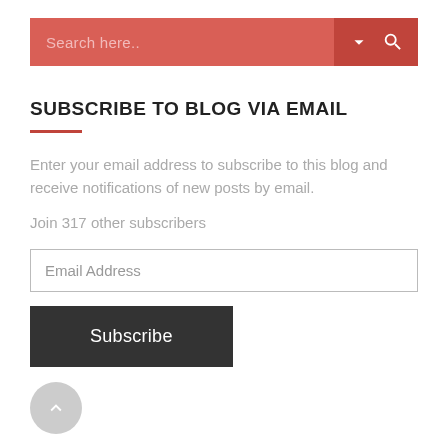[Figure (screenshot): Search bar with red/coral background, placeholder text 'Search here..', a chevron down icon and a search magnifier icon on the right side]
SUBSCRIBE TO BLOG VIA EMAIL
Enter your email address to subscribe to this blog and receive notifications of new posts by email.
Join 317 other subscribers
Email Address
Subscribe
[Figure (illustration): Round gray scroll-to-top button with an upward arrow chevron icon]